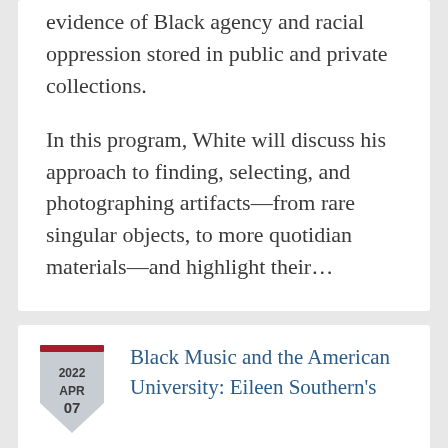evidence of Black agency and racial oppression stored in public and private collections.
In this program, White will discuss his approach to finding, selecting, and photographing artifacts—from rare singular objects, to more quotidian materials—and highlight their…
2022 APR 07
Black Music and the American University: Eileen Southern's